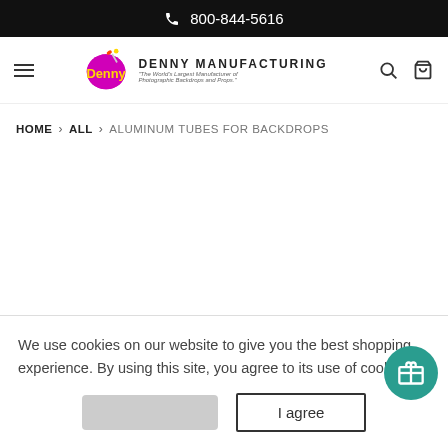800-844-5616
[Figure (logo): Denny Manufacturing logo with oval paint splash shape and brand name]
HOME > ALL > ALUMINUM TUBES FOR BACKDROPS
We use cookies on our website to give you the best shopping experience. By using this site, you agree to its use of cookies.
I agree